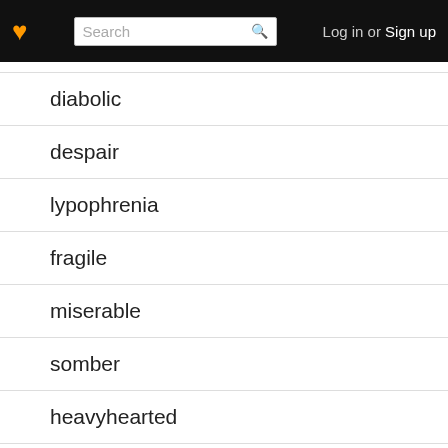Log in or Sign up
diabolic
despair
lypophrenia
fragile
miserable
somber
heavyhearted
restless